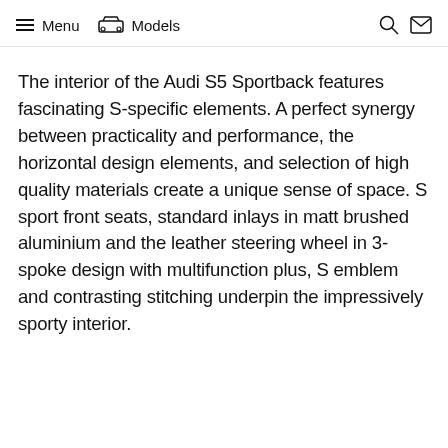Menu  Models
The interior of the Audi S5 Sportback features fascinating S-specific elements. A perfect synergy between practicality and performance, the horizontal design elements, and selection of high quality materials create a unique sense of space. S sport front seats, standard inlays in matt brushed aluminium and the leather steering wheel in 3-spoke design with multifunction plus, S emblem and contrasting stitching underpin the impressively sporty interior.